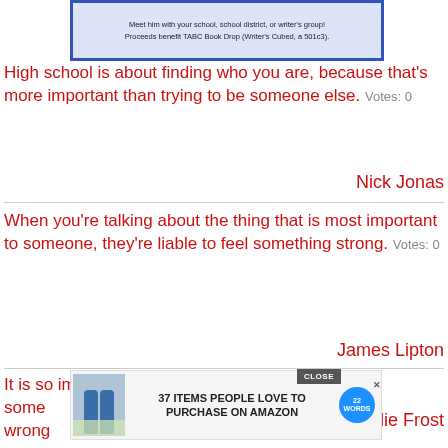[Figure (other): Banner image with text: Meet him with your school, school district, or writer's group! Proceeds benefit TABC Book Drop (Writer's Cubed, a 501c3).]
High school is about finding who you are, because that's more important than trying to be someone else.   Votes: 0
Nick Jonas
When you're talking about the thing that is most important to someone, they're liable to feel something strong.   Votes: 0
James Lipton
It is so important that you don't stay with some wrong
[Figure (other): Ad overlay: CLOSE button, product image of bottles with flowers, text '37 ITEMS PEOPLE LOVE TO PURCHASE ON AMAZON', 22 Words logo with X close button]
Sadie Frost